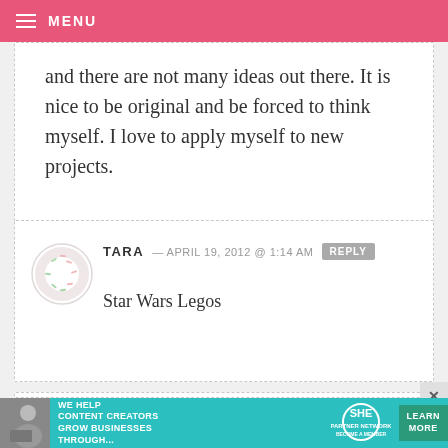MENU
and there are not many ideas out there. It is nice to be original and be forced to think myself. I love to apply myself to new projects.
TARA — APRIL 19, 2012 @ 1:14 AM
Star Wars Legos
JESS — APRIL 19, 2012 @ 1:14 AM
[Figure (other): Advertisement banner: SHE Partner Network - We help content creators grow businesses through... Learn More]